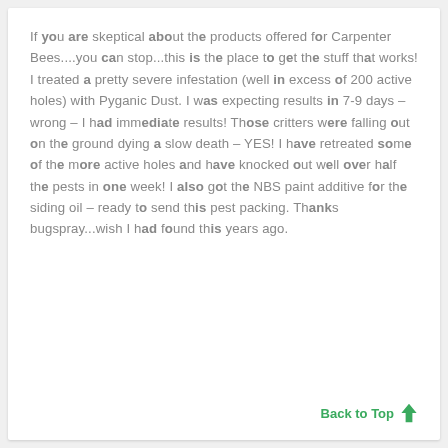If you are skeptical about the products offered for Carpenter Bees....you can stop...this is the place to get the stuff that works! I treated a pretty severe infestation (well in excess of 200 active holes) with Pyganic Dust. I was expecting results in 7-9 days – wrong – I had immediate results! Those critters were falling out on the ground dying a slow death – YES! I have retreated some of the more active holes and have knocked out well over half the pests in one week! I also got the NBS paint additive for the siding oil – ready to send this pest packing. Thanks bugspray...wish I had found this years ago.
Back to Top